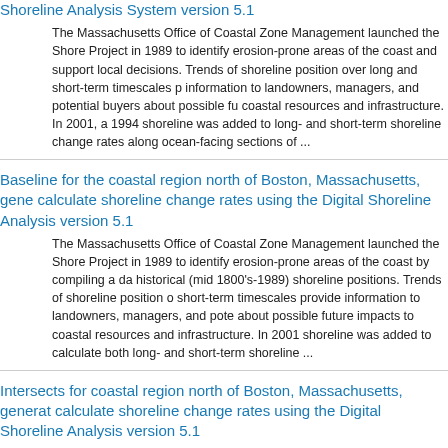Shoreline Analysis System version 5.1
The Massachusetts Office of Coastal Zone Management launched the Shore Project in 1989 to identify erosion-prone areas of the coast and support local decisions. Trends of shoreline position over long and short-term timescales p information to landowners, managers, and potential buyers about possible fu coastal resources and infrastructure. In 2001, a 1994 shoreline was added to long- and short-term shoreline change rates along ocean-facing sections of ...
Baseline for the coastal region north of Boston, Massachusetts, gene calculate shoreline change rates using the Digital Shoreline Analysis version 5.1
The Massachusetts Office of Coastal Zone Management launched the Shore Project in 1989 to identify erosion-prone areas of the coast by compiling a da historical (mid 1800's-1989) shoreline positions. Trends of shoreline position short-term timescales provide information to landowners, managers, and pote about possible future impacts to coastal resources and infrastructure. In 2001 shoreline was added to calculate both long- and short-term shoreline ...
Intersects for coastal region north of Boston, Massachusetts, generat calculate shoreline change rates using the Digital Shoreline Analysis version 5.1
The Massachusetts Office of Coastal Zone Management launched the Shore Project in 1989 to identify erosion-prone areas of the coast and support local decisions. Trends of shoreline position over long and short-term timescales p information to landowners, managers, and potential buyers about possible fu